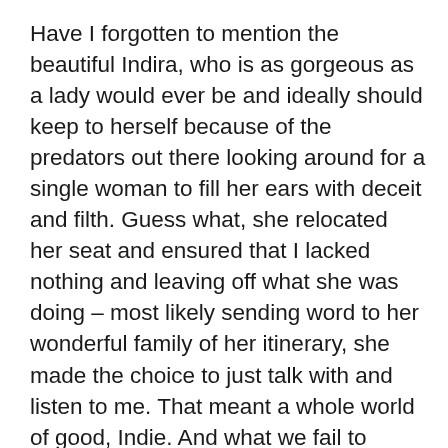Have I forgotten to mention the beautiful Indira, who is as gorgeous as a lady would ever be and ideally should keep to herself because of the predators out there looking around for a single woman to fill her ears with deceit and filth. Guess what, she relocated her seat and ensured that I lacked nothing and leaving off what she was doing – most likely sending word to her wonderful family of her itinerary, she made the choice to just talk with and listen to me. That meant a whole world of good, Indie. And what we fail to acknowledge is that whenever we sow, we must reap so why devote time and energy in sowing the wrong things because inadvertently our harvest is in multiples of what we have sown. Besides, it kicks against the natural instinct of self-preservation for any sane person (yeah more insane people are being discovered each day but we yet out-number them) to sow something detrimental to